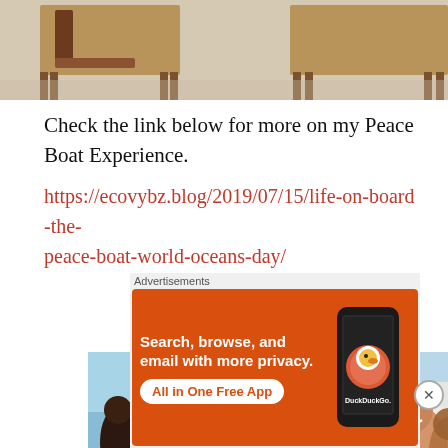[Figure (photo): Top cropped photo showing wooden school desks/chairs on a light floor, partial view from a previous page section]
Check the link below for more on my Peace Boat Experience.
https://ecovybz.blog/2019/07/15/life-on-board-the-peace-boat-world-oceans-day/
[Figure (photo): Group of young people in white t-shirts with 'DAY' text on a ship deck, smiling for a photo]
[Figure (photo): Close-up of two people smiling, one wearing a cap, on a ship with blue water/ship structure visible]
Advertisements
[Figure (photo): DuckDuckGo advertisement banner: orange background with text 'Search, browse, and email with more privacy. All in One Free App' and DuckDuckGo logo with phone mockup]